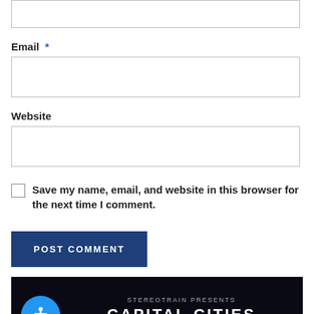(input box top - partially visible)
Email *
Website
Save my name, email, and website in this browser for the next time I comment.
POST COMMENT
[Figure (screenshot): Dark promotional banner for 'STEREOTRAIN PRESENTS CAPITAL CITIES ALEX RZYAN' with a blue accessibility icon button on the left.]